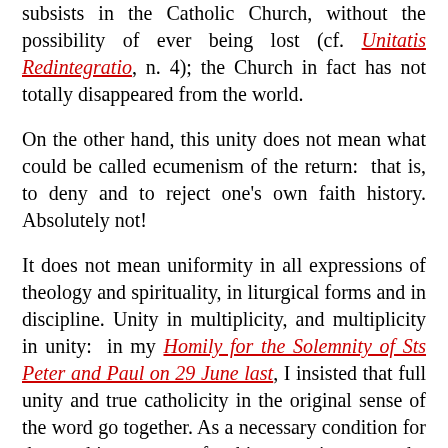subsists in the Catholic Church, without the possibility of ever being lost (cf. Unitatis Redintegratio, n. 4); the Church in fact has not totally disappeared from the world.
On the other hand, this unity does not mean what could be called ecumenism of the return:  that is, to deny and to reject one's own faith history. Absolutely not!
It does not mean uniformity in all expressions of theology and spirituality, in liturgical forms and in discipline. Unity in multiplicity, and multiplicity in unity:  in my Homily for the Solemnity of Sts Peter and Paul on 29 June last, I insisted that full unity and true catholicity in the original sense of the word go together. As a necessary condition for the achievement of this coexistence, the commitment to unity must be constantly purified and renewed; it must constantly grow and mature. Ecumenical meeting at the Archbishopric of Cologne